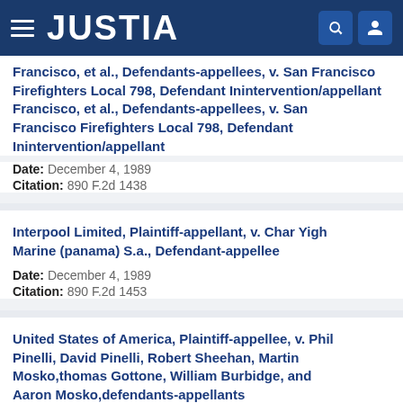JUSTIA
Francisco, et al., Defendants-appellees, v. San Francisco Firefighters Local 798, Defendant Inintervention/appellant
Date: December 4, 1989
Citation: 890 F.2d 1438
Interpool Limited, Plaintiff-appellant, v. Char Yigh Marine (panama) S.a., Defendant-appellee
Date: December 4, 1989
Citation: 890 F.2d 1453
United States of America, Plaintiff-appellee, v. Phil Pinelli, David Pinelli, Robert Sheehan, Martin Mosko,thomas Gottone, William Burbidge, and Aaron Mosko,defendants-appellants
Date: December 12, 1989